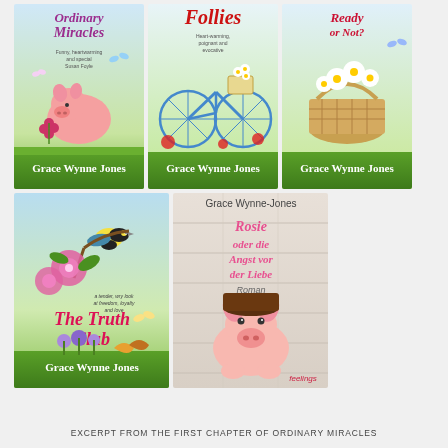[Figure (illustration): Grid of 5 book covers by Grace Wynne Jones: 'Ordinary Miracles' (pink pig, flowers), 'Follies' (blue bicycle, daisies), 'Ready or Not?' (daisy basket), 'The Truth Club' (bird, pink flowers, thistles), and 'Rosie oder die Angst vor der Liebe' (German edition, pig on wooden floor, feelings publisher)]
EXCERPT FROM THE FIRST CHAPTER OF ORDINARY MIRACLES